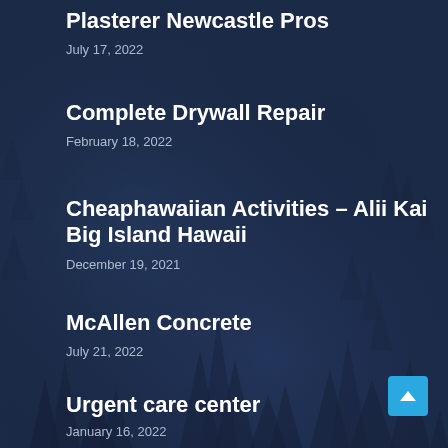Plasterer Newcastle Pros
July 17, 2022
Complete Drywall Repair
February 18, 2022
Cheaphawaiian Activities – Alii Kai Big Island Hawaii
December 19, 2021
McAllen Concrete
July 21, 2022
Urgent care center
January 16, 2022